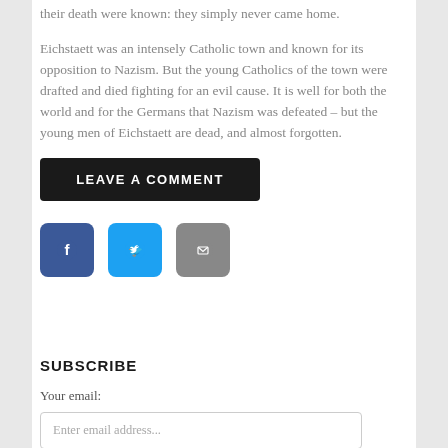their death were known: they simply never came home.
Eichstaett was an intensely Catholic town and known for its opposition to Nazism. But the young Catholics of the town were drafted and died fighting for an evil cause. It is well for both the world and for the Germans that Nazism was defeated – but the young men of Eichstaett are dead, and almost forgotten.
[Figure (other): LEAVE A COMMENT button (dark/black rounded rectangle)]
[Figure (other): Social share icons: Facebook (blue square), Twitter (light blue square), Email (gray square)]
SUBSCRIBE
Your email:
[Figure (other): Email address input field with placeholder text 'Enter email address...']
[Figure (other): SUBSCRIBE and UNSUBSCRIBE buttons (dark rounded rectangles)]